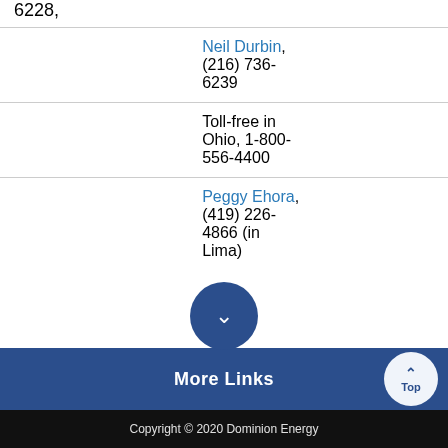|  | 6228, |
|  | Neil Durbin, (216) 736-6239 |
|  | Toll-free in Ohio, 1-800-556-4400 |
|  | Peggy Ehora, (419) 226-4866 (in Lima) |
More Links
Copyright © 2020 Dominion Energy